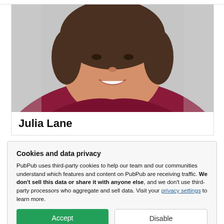[Figure (photo): Headshot photo of Julia Lane, a woman with short brown hair wearing a dark red/magenta top, smiling against a light gray background.]
Julia Lane
Cookies and data privacy
PubPub uses third-party cookies to help our team and our communities understand which features and content on PubPub are receiving traffic. We don't sell this data or share it with anyone else, and we don't use third-party processors who aggregate and sell data. Visit your privacy settings to learn more.
[Figure (photo): Partial bottom strip showing a green outdoor/nature scene.]